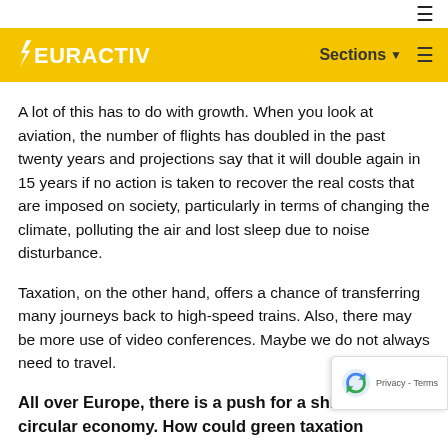≡
EURACTIV  Sections ▾  ≡
A lot of this has to do with growth. When you look at aviation, the number of flights has doubled in the past twenty years and projections say that it will double again in 15 years if no action is taken to recover the real costs that are imposed on society, particularly in terms of changing the climate, polluting the air and lost sleep due to noise disturbance.
Taxation, on the other hand, offers a chance of transferring many journeys back to high-speed trains. Also, there may be more use of video conferences. Maybe we do not always need to travel.
All over Europe, there is a push for a shift tow… circular economy. How could green taxation…